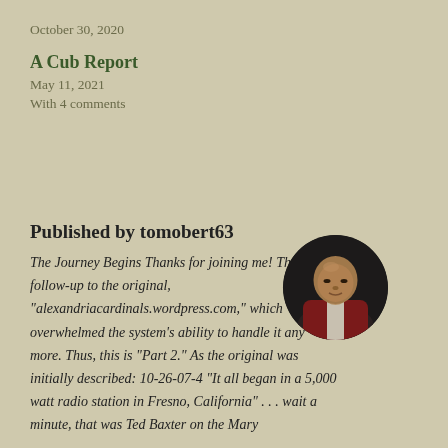October 30, 2020
A Cub Report
May 11, 2021
With 4 comments
Published by tomobert63
[Figure (photo): Circular avatar photo of a bald man wearing a red and white sports jacket, seated indoors]
The Journey Begins Thanks for joining me! This is the follow-up to the original, "alexandriacardinals.wordpress.com," which overwhelmed the system's ability to handle it any more. Thus, this is "Part 2." As the original was initially described: 10-26-07-4 "It all began in a 5,000 watt radio station in Fresno, California" . . . wait a minute, that was Ted Baxter on the Mary